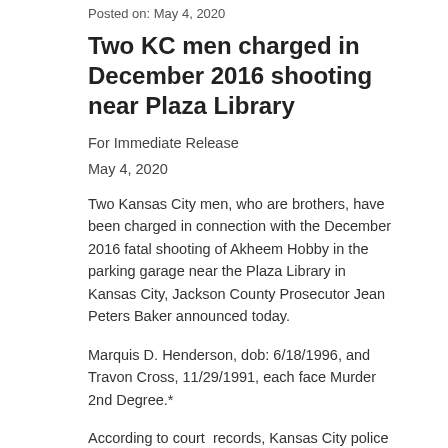Posted on: May 4, 2020
Two KC men charged in December 2016 shooting near Plaza Library
For Immediate Release
May 4, 2020
Two Kansas City men, who are brothers, have been charged in connection with the December 2016 fatal shooting of Akheem Hobby in the parking garage near the Plaza Library in Kansas City, Jackson County Prosecutor Jean Peters Baker announced today.
Marquis D. Henderson, dob: 6/18/1996, and Travon Cross, 11/29/1991, each face Murder 2nd Degree.*
According to court records, Kansas City police responded on Dec. 29, 2016 to 48th and Main Street on a reported shooting and found the victim, Hobby, dob: 1/16/1989, deceased from a gun shot wound, in the parking garage next to the Plaza Library. Video surveillance showed a Toyota Camry that police determined had been rented from